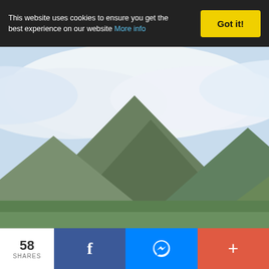This website uses cookies to ensure you get the best experience on our website More info  Got it!
showcasing crafts, religious paintings and art designs by talented local artisans. The Santo Niño de Romblon is the patron saint of the town whose feast day (Biniray Festival) is celebrated every 2nd week of January.
Saint Joseph Cathedral is situated in Poblacion, Romblon Island, Romblon.
9. Cantingas River
[Figure (photo): Landscape photo showing Cantingas River area with green trees, mountains, and cloudy sky in Romblon.]
58 SHARES | Facebook share | Messenger share | More options